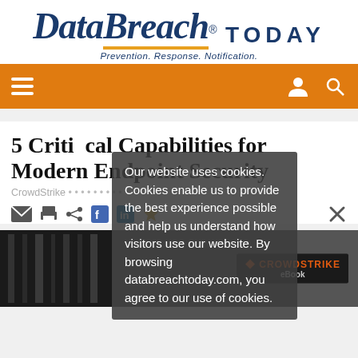[Figure (logo): Data Breach Today logo with tagline 'Prevention. Response. Notification.' and TODAY in large caps]
[Figure (screenshot): Orange navigation bar with hamburger menu icon on left and user/search icons on right]
5 Critical Capabilities for Modern Endpoint Security
CrowdStrike [byline text partially obscured]
[Figure (screenshot): Share bar with email, print, social icons]
Our website uses cookies. Cookies enable us to provide the best experience possible and help us understand how visitors use our website. By browsing databreachtoday.com, you agree to our use of cookies.
[Figure (screenshot): Bottom image strip showing dark vertical bars on left and CrowdStrike eBook badge on right]